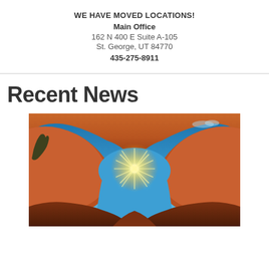WE HAVE MOVED LOCATIONS!
Main Office
162 N 400 E Suite A-105
St. George, UT 84770
435-275-8911
Recent News
[Figure (photo): Landscape photo of a natural stone arch (Mesa Arch) in Utah desert at sunrise, with a starburst sun shining through the arch opening, illuminating red sandstone rocks against a blue sky.]